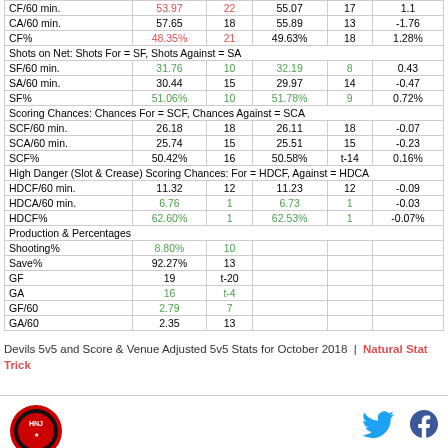|  |  |  |  |  |  |
| --- | --- | --- | --- | --- | --- |
| CF/60 min. | 53.97 | 22 | 55.07 | 17 | 1.1 |
| CA/60 min. | 57.65 | 18 | 55.89 | 13 | -1.76 |
| CF% | 48.35% | 21 | 49.63% | 18 | 1.28% |
| Shots on Net: Shots For = SF, Shots Against = SA |  |  |  |  |  |
| SF/60 min. | 31.76 | 10 | 32.19 | 8 | 0.43 |
| SA/60 min. | 30.44 | 15 | 29.97 | 14 | -0.47 |
| SF% | 51.06% | 10 | 51.78% | 9 | 0.72% |
| Scoring Chances: Chances For = SCF, Chances Against = SCA |  |  |  |  |  |
| SCF/60 min. | 26.18 | 18 | 26.11 | 18 | -0.07 |
| SCA/60 min. | 25.74 | 15 | 25.51 | 15 | -0.23 |
| SCF% | 50.42% | 16 | 50.58% | t-14 | 0.16% |
| High Danger (Slot & Crease) Scoring Chances: For = HDCF, Against = HDCA |  |  |  |  |  |
| HDCF/60 min. | 11.32 | 12 | 11.23 | 12 | -0.09 |
| HDCA/60 min. | 6.76 | 1 | 6.73 | 1 | -0.03 |
| HDCF% | 62.60% | 1 | 62.53% | 1 | -0.07% |
| Production & Percentages |  |  |  |  |  |
| Shooting% | 8.80% | 10 |  |  |  |
| Save% | 92.27% | 13 |  |  |  |
| GF | 19 | t-20 |  |  |  |
| GA | 16 | t-4 |  |  |  |
| GF/60 | 2.79 | 7 |  |  |  |
| GA/60 | 2.35 | 13 |  |  |  |
Devils 5v5 and Score & Venue Adjusted 5v5 Stats for October 2018 | Natural Stat Trick